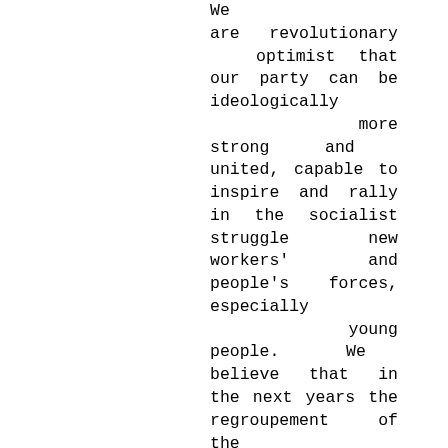We are revolutionary optimist that our party can be ideologically more strong and united, capable to inspire and rally in the socialist struggle new workers' and people's forces, especially young people. We believe that in the next years the regroupement of the international communist movement will be more distinct based on the development of its communist ideological and strategically unity.